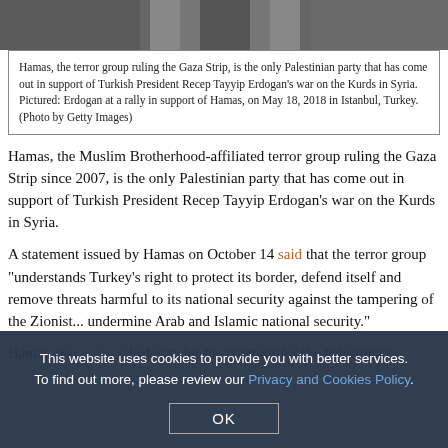[Figure (photo): Partial photo at top of page showing a person in a dark suit, cropped]
Hamas, the terror group ruling the Gaza Strip, is the only Palestinian party that has come out in support of Turkish President Recep Tayyip Erdogan's war on the Kurds in Syria. Pictured: Erdogan at a rally in support of Hamas, on May 18, 2018 in Istanbul, Turkey. (Photo by Getty Images)
Hamas, the Muslim Brotherhood-affiliated terror group ruling the Gaza Strip since 2007, is the only Palestinian party that has come out in support of Turkish President Recep Tayyip Erdogan's war on the Kurds in Syria.
A statement issued by Hamas on October 14 said that the terror group "understands Turkey's right to protect its border, defend itself and remove threats harmful to its national security against the tampering of the Zionist... undermine Arab and Islamic national security."
Hamas also praised Erdogan for his "support for the Palestinian..."
This website uses cookies to provide you with better services. To find out more, please review our Privacy and Cookies Policy.
OK